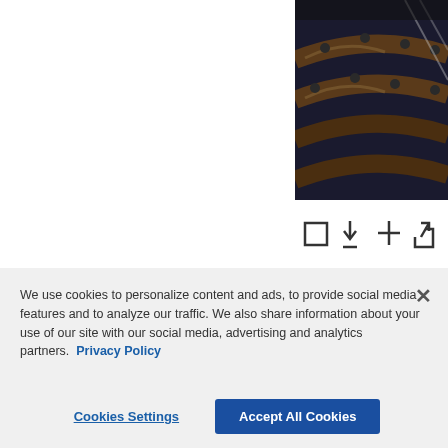[Figure (photo): Screenshot of a congressional hearing room viewed from above, showing curved wooden desks and seated figures]
[Figure (screenshot): Toolbar icons: checkbox, download, plus, share, and expand buttons]
Show story thumbnails
[Figure (photo): Screenshot of a congressional hearing with an older white-haired man speaking at a microphone, others seated behind him in a wood-paneled room]
We use cookies to personalize content and ads, to provide social media features and to analyze our traffic. We also share information about your use of our site with our social media, advertising and analytics partners. Privacy Policy
Cookies Settings
Accept All Cookies